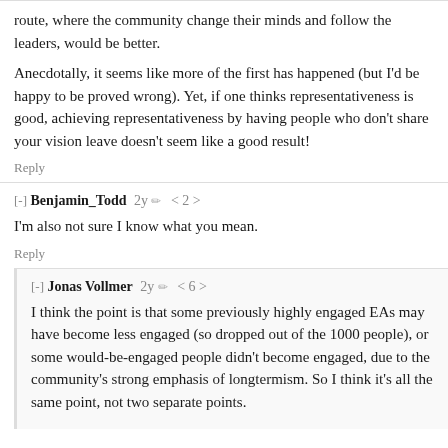route, where the community change their minds and follow the leaders, would be better.

Anecdotally, it seems like more of the first has happened (but I'd be happy to be proved wrong). Yet, if one thinks representativeness is good, achieving representativeness by having people who don't share your vision leave doesn't seem like a good result!
Reply
[-] Benjamin_Todd  2y  < 2 >
I'm also not sure I know what you mean.
Reply
[-] Jonas Vollmer  2y  < 6 >
I think the point is that some previously highly engaged EAs may have become less engaged (so dropped out of the 1000 people), or some would-be-engaged people didn't become engaged, due to the community's strong emphasis of longtermism. So I think it's all the same point, not two separate points.